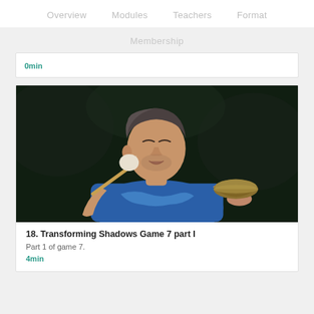Overview   Modules   Teachers   Format
Membership
0min
[Figure (photo): A man in a blue t-shirt holding a singing bowl in one hand and a mallet in the other, eyes closed, against a dark background, with a small microphone on his collar.]
18. Transforming Shadows Game 7 part I
Part 1 of game 7.
4min